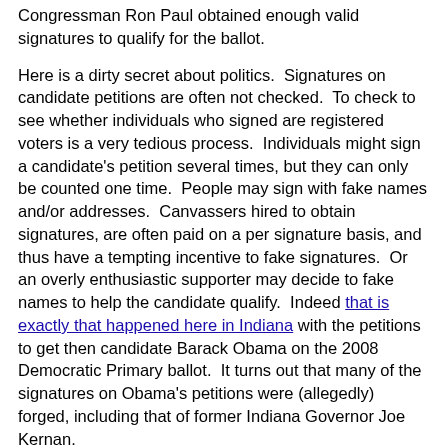Congressman Ron Paul obtained enough valid signatures to qualify for the ballot.
Here is a dirty secret about politics. Signatures on candidate petitions are often not checked. To check to see whether individuals who signed are registered voters is a very tedious process. Individuals might sign a candidate's petition several times, but they can only be counted one time. People may sign with fake names and/or addresses. Canvassers hired to obtain signatures, are often paid on a per signature basis, and thus have a tempting incentive to fake signatures. Or an overly enthusiastic supporter may decide to fake names to help the candidate qualify. Indeed that is exactly that happened here in Indiana with the petitions to get then candidate Barack Obama on the 2008 Democratic Primary ballot. It turns out that many of the signatures on Obama's petitions were (allegedly) forged, including that of former Indiana Governor Joe Kernan.
Any audit of the validity of signatures on a candidate's petitions is going to knock down the count. The question is how much and whether the prospective